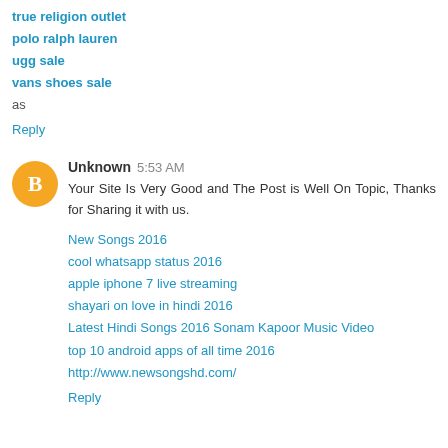true religion outlet
polo ralph lauren
ugg sale
vans shoes sale
as
Reply
Unknown  5:53 AM
Your Site Is Very Good and The Post is Well On Topic, Thanks for Sharing it with us.
New Songs 2016
cool whatsapp status 2016
apple iphone 7 live streaming
shayari on love in hindi 2016
Latest Hindi Songs 2016 Sonam Kapoor Music Video
top 10 android apps of all time 2016
http://www.newsongshd.com/
Reply